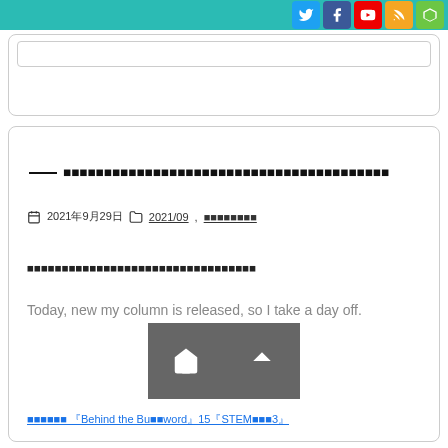Social media icons: Twitter, Facebook, YouTube, RSS, Feedly
[Figure (other): Search box with rounded border]
—— 日本語タイトルテキスト（記事見出し）
2021年9月29日 2021/09 , カテゴリ名テキスト
日本語の記事本文の抜粋テキスト
Today, new my column is released, so I take a day off.
前の記事 「Behind the Buzzword」15「STEM教育」3「